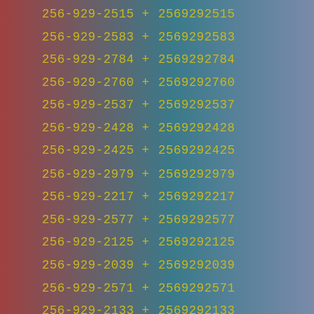256-929-2515 + 2569292515
256-929-2583 + 2569292583
256-929-2784 + 2569292784
256-929-2760 + 2569292760
256-929-2537 + 2569292537
256-929-2428 + 2569292428
256-929-2425 + 2569292425
256-929-2979 + 2569292979
256-929-2217 + 2569292217
256-929-2577 + 2569292577
256-929-2125 + 2569292125
256-929-2039 + 2569292039
256-929-2571 + 2569292571
256-929-2133 + 2569292133
256-929-2069 + 2569292069
256-929-2154 + 2569292154
256-929-2170 + 2569292170
256-929-2417 + 2569292417
256-929-2594 + 2569292594
256-929-2661 + 2569292661
256-929-2634 + 2569292634
256-929-2178 + 2569292178
256-929-2490 + 2569292490